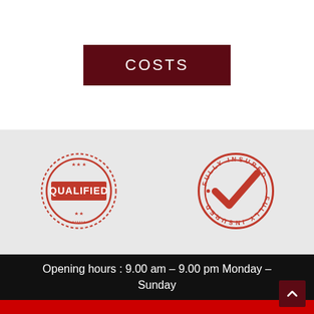COSTS
[Figure (illustration): Red stamp icon with text QUALIFIED surrounded by decorative border and stars]
[Figure (illustration): Red circular badge with checkmark and text FULLY INSURED repeated around the circle]
Opening hours : 9.00 am – 9.00 pm Monday – Sunday